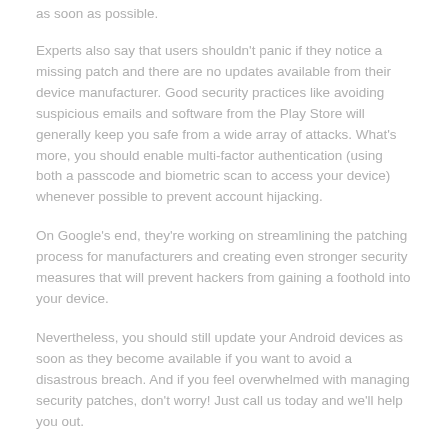as soon as possible.
Experts also say that users shouldn't panic if they notice a missing patch and there are no updates available from their device manufacturer. Good security practices like avoiding suspicious emails and software from the Play Store will generally keep you safe from a wide array of attacks. What's more, you should enable multi-factor authentication (using both a passcode and biometric scan to access your device) whenever possible to prevent account hijacking.
On Google's end, they're working on streamlining the patching process for manufacturers and creating even stronger security measures that will prevent hackers from gaining a foothold into your device.
Nevertheless, you should still update your Android devices as soon as they become available if you want to avoid a disastrous breach. And if you feel overwhelmed with managing security patches, don't worry! Just call us today and we'll help you out.